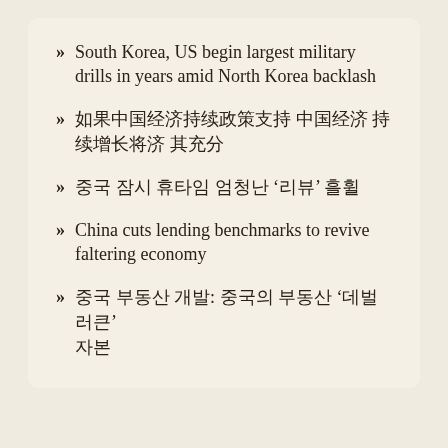» South Korea, US begin largest military drills in years amid North Korea backlash
» [non-latin script text]
» [non-latin script text with quoted term]
» China cuts lending benchmarks to revive faltering economy
» [non-latin script text with quoted term]